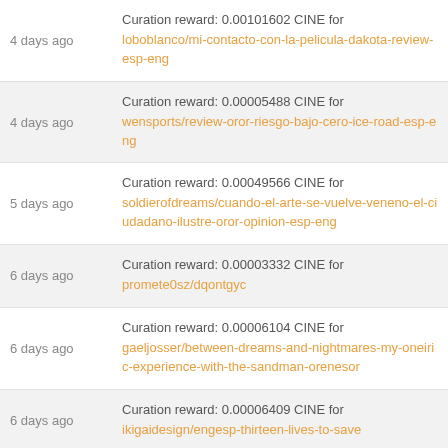4 days ago | Curation reward: 0.00101602 CINE for loboblanco/mi-contacto-con-la-pelicula-dakota-review-esp-eng
4 days ago | Curation reward: 0.00005488 CINE for wensports/review-oror-riesgo-bajo-cero-ice-road-esp-eng
5 days ago | Curation reward: 0.00049566 CINE for soldierofdreams/cuando-el-arte-se-vuelve-veneno-el-ciudadano-ilustre-oror-opinion-esp-eng
6 days ago | Curation reward: 0.00003332 CINE for promete0sz/dqontgyc
6 days ago | Curation reward: 0.00006104 CINE for gaeljosser/between-dreams-and-nightmares-my-oneiric-experience-with-the-sandman-orenesor
6 days ago | Curation reward: 0.00006409 CINE for ikigaidesign/engesp-thirteen-lives-to-save